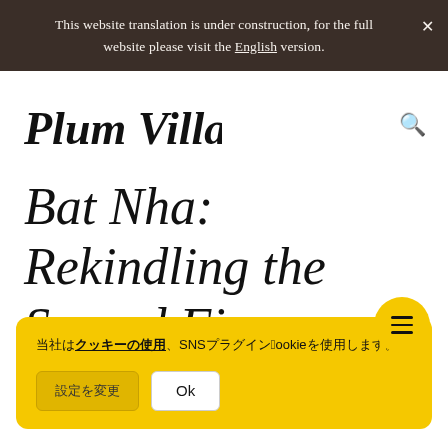This website translation is under construction, for the full website please visit the English version.
[Figure (logo): Plum Village handwritten logo in black ink script]
Bat Nha: Rekindling the Sacred Fi...
Cookie consent notice in Japanese with SNS and Cookie references, with settings and Ok buttons
Blue Cliff Monastery
October 21, 2009